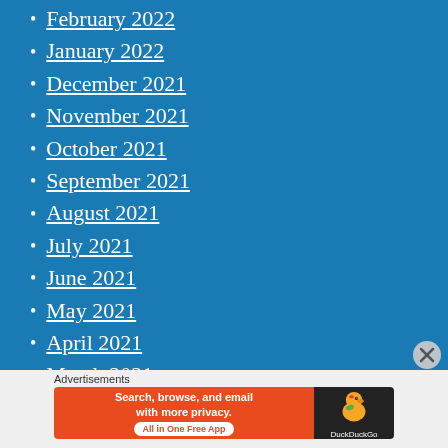February 2022
January 2022
December 2021
November 2021
October 2021
September 2021
August 2021
July 2021
June 2021
May 2021
April 2021
March 2021
February 2021
January 2021
Advertisements
[Figure (screenshot): DuckDuckGo advertisement banner with orange left side reading 'Search, browse, and email with more privacy. All in One Free App' and dark right side with DuckDuckGo duck logo]